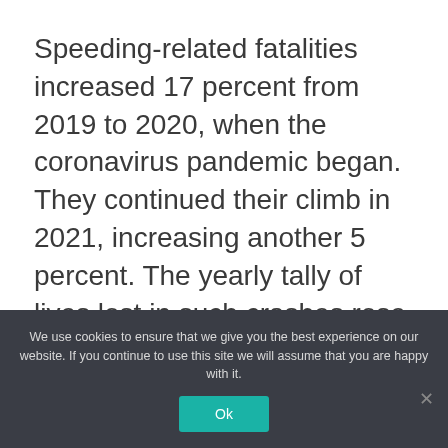Speeding-related fatalities increased 17 percent from 2019 to 2020, when the coronavirus pandemic began. They continued their climb in 2021, increasing another 5 percent. The yearly tally of lives lost in such crashes rose from 9,592 in 2019 to 11,258 in 2020, followed by 11,780 last year.
Deaths among those who were not wearing seat belts increased by 14 percent in the pandemic's first year, a figure that grew
We use cookies to ensure that we give you the best experience on our website. If you continue to use this site we will assume that you are happy with it.